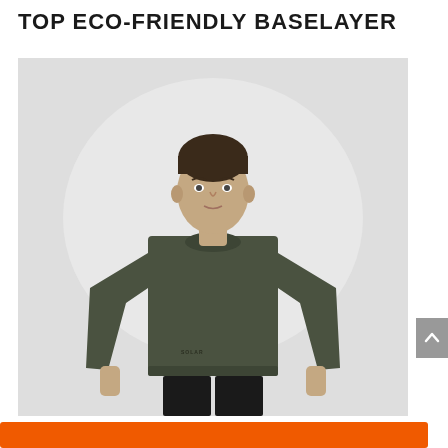TOP ECO-FRIENDLY BASELAYER
[Figure (photo): Man wearing a dark olive/army green long-sleeve fitted baselayer top, standing against a light grey background, wearing black pants. Small brand logo visible on lower left chest of shirt.]
[Figure (other): Orange/burnt-orange horizontal button bar at the bottom of the page]